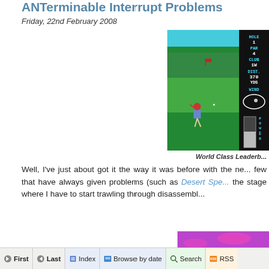ANTerminable Interrupt Problems
Friday, 22nd February 2008
[Figure (screenshot): World Class Leaderboard golf game screenshot showing golf course with player swinging, sidebar showing HOLE 1, PAR 4, CLUB 1W, DIST. 370 YDS, WIND indicator, and POWER bar]
World Class Leaderb...
Well, I've just about got it the way it was before with the ne... few that have always given problems (such as Desert Spe... the stage where I have to start trawling through disassembl...
[Figure (screenshot): Retro video game screenshot with purple/pink sky background and colorful building/structure at bottom]
First  Last  Index  Browse by date  Search  RSS